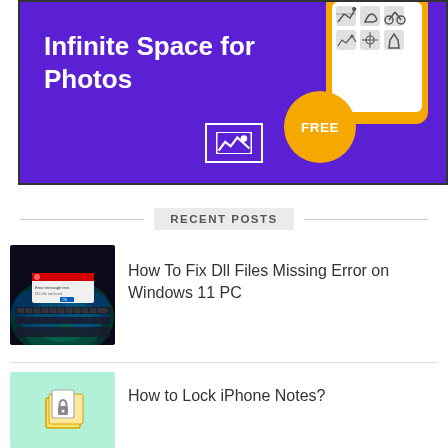[Figure (illustration): Purple banner advertisement for a photo storage app showing 'Infinite Space for Photos' text with an image icon, a yellow smartphone graphic with app icons, a teal glowing ball, and a golden FREE badge circle.]
RECENT POSTS
[Figure (photo): Thumbnail of a dark laptop keyboard with a glowing blue/green background and a Windows error dialog box overlay.]
How To Fix Dll Files Missing Error on Windows 11 PC
[Figure (illustration): Thumbnail with light mint/green background and a stack of notes icon with a padlock.]
How to Lock iPhone Notes?